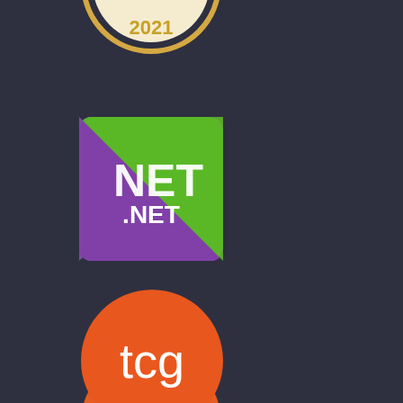[Figure (logo): 2021 award badge/seal - partial view at top, gold/cream colored circular badge with '2021' text]
[Figure (logo): .NET logo - square logo with green and purple geometric diamond pattern background with 'NET' in white and '.NET' in white text]
[Figure (logo): TCG logo - orange circle with lowercase white 'tcg' text]
[Figure (logo): Visit Tampa Bay logo - yellow logo with 'VISIT' text, decorative skull and crossbones/keys icon, 'TAMPA BAY' in large text, and small tagline below]